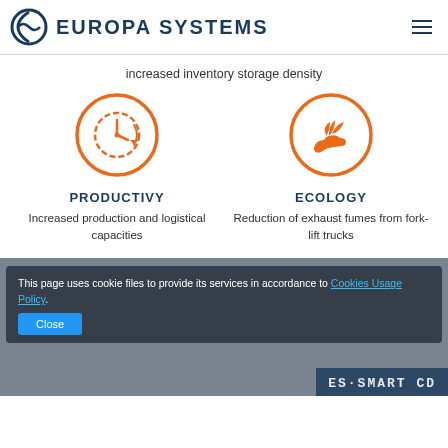EUROPA SYSTEMS
increased inventory storage density
[Figure (illustration): Two circular orange icons: left shows a clock/time symbol representing Productivity; right shows a hand holding leaves representing Ecology]
PRODUCTIVY
Increased production and logistical capacities
ECOLOGY
Reduction of exhaust fumes from fork-lift trucks
This page uses cookie files to provide its services in accordance to Cookies Usage Policy.
Close
[Figure (logo): ES SMART CD logo at the bottom]